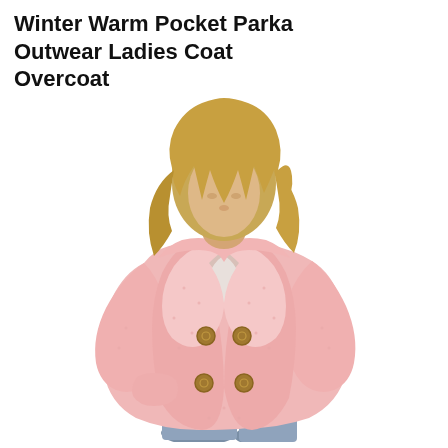Winter Warm Pocket Parka Outwear Ladies Coat Overcoat
[Figure (photo): A woman wearing a fluffy pink double-breasted parka coat with large lapels and gold buttons, paired with blue jeans and carrying a brown bag. The coat has a teddy fleece texture and two front pockets.]